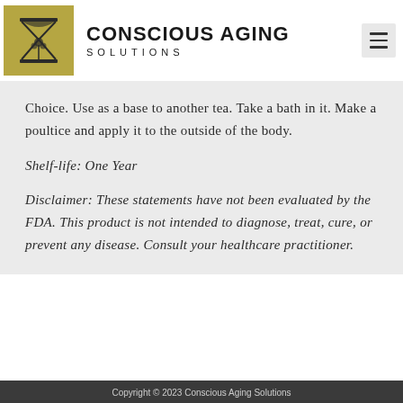[Figure (logo): Conscious Aging Solutions logo: hourglass with tree/plant illustration on olive/gold background]
CONSCIOUS AGING SOLUTIONS
Choice. Use as a base to another tea. Take a bath in it. Make a poultice and apply it to the outside of the body.
Shelf-life: One Year
Disclaimer: These statements have not been evaluated by the FDA. This product is not intended to diagnose, treat, cure, or prevent any disease. Consult your healthcare practitioner.
Copyright © 2023 Conscious Aging Solutions